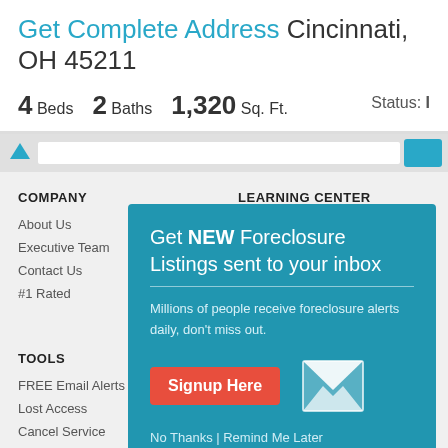Get Complete Address Cincinnati, OH 45211
4 Beds  2 Baths  1,320 Sq. Ft.   Status: I
[Figure (screenshot): Website navigation bar with arrow icon, search input, and blue button]
COMPANY
About Us
Executive Team
Contact Us
#1 Rated
LEARNING CENTER
Scholarship Program
[Figure (infographic): Popup modal with teal background: Get NEW Foreclosure Listings sent to your inbox. Millions of people receive foreclosure alerts daily, don't miss out. Signup Here button, envelope icon, No Thanks | Remind Me Later links]
TOOLS
FREE Email Alerts
Lost Access
Cancel Service
Site Map
Account Management
Improve Your Credit